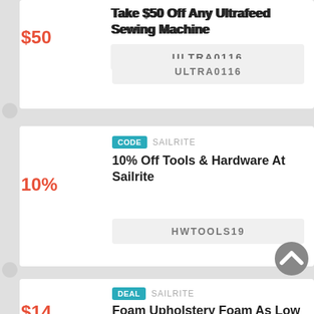$50
Take $50 Off Any Ultrafeed Sewing Machine
ULTRA0116
CODE  SAILRITE
10% Off Tools & Hardware At Sailrite
10%
HWTOOLS19
DEAL  SAILRITE
Foam Upholstery Foam As Low As $14.50
$14